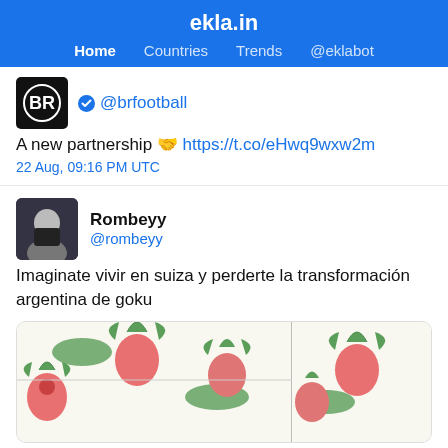ekla.in
Home  Countries  Trends  @eklabot
@brfootball
A new partnership 🤝 https://t.co/eHwq9wxw2m
22 Aug, 09:16 PM UTC
Rombeyy @rombeyy
Imaginate vivir en suiza y perderte la transformación argentina de goku
[Figure (illustration): Illustrated image showing strawberries with green leaves on a white background, split into two panels side by side]